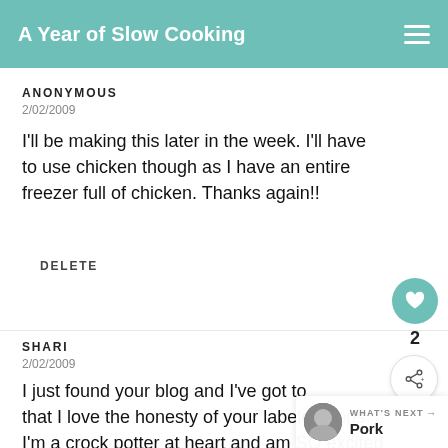A Year of Slow Cooking
ANONYMOUS
2/02/2009
I'll be making this later in the week. I'll have to use chicken though as I have an entire freezer full of chicken. Thanks again!!
DELETE
SHARI
2/02/2009
I just found your blog and I've got to say that I love the honesty of your labeled hops. I'm a crock potter at heart and am SO excited
WHAT'S NEXT → Pork